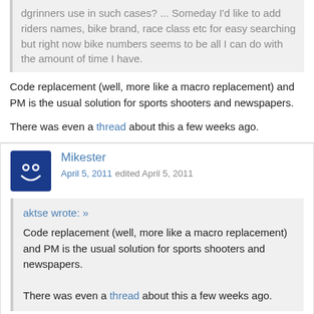dgrinners use in such cases? ... Someday I'd like to add riders names, bike brand, race class etc for easy searching but right now bike numbers seems to be all I can do with the amount of time I have.
Code replacement (well, more like a macro replacement) and PM is the usual solution for sports shooters and newspapers.
There was even a thread about this a few weeks ago.
Mikester
April 5, 2011 edited April 5, 2011
aktse wrote: »
Code replacement (well, more like a macro replacement) and PM is the usual solution for sports shooters and newspapers.

There was even a thread about this a few weeks ago.